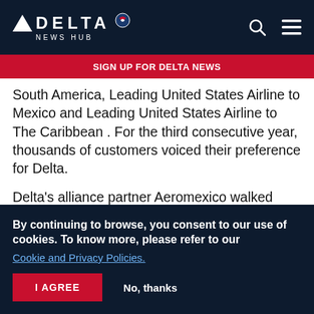DELTA NEWS HUB
SIGN UP FOR DELTA NEWS
South America, Leading United States Airline to Mexico and Leading United States Airline to The Caribbean . For the third consecutive year, thousands of customers voiced their preference for Delta.

Delta's alliance partner Aeromexico walked away with two WTA recognitions, winning in the categories of Mexico & Central America's Leading
By continuing to browse, you consent to our use of cookies. To know more, please refer to our Cookie and Privacy Policies.
I AGREE  No, thanks